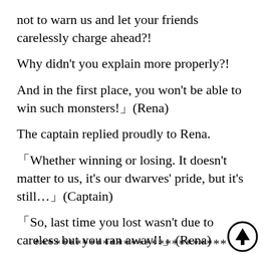not to warn us and let your friends carelessly charge ahead?!
Why didn't you explain more properly?!
And in the first place, you won't be able to win such monsters!」(Rena)
The captain replied proudly to Rena.
「Whether winning or losing. It doesn't matter to us, it's our dwarves' pride, but it's still…」(Captain)
「So, last time you lost wasn't due to careless but you ran away!!」(Rena)
****************************